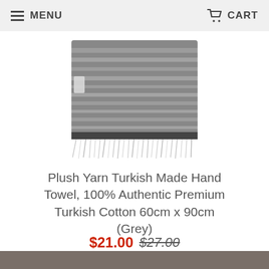MENU   CART
[Figure (photo): Grey striped Turkish hand towel with fringe, folded, showing horizontal white stripes on grey fabric background]
Plush Yarn Turkish Made Hand Towel, 100% Authentic Premium Turkish Cotton 60cm x 90cm (Grey)
$21.00 $27.00